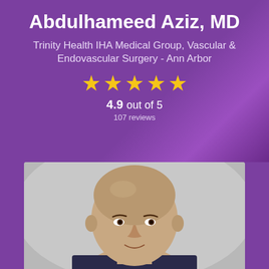Abdulhameed Aziz, MD
Trinity Health IHA Medical Group, Vascular & Endovascular Surgery - Ann Arbor
[Figure (other): Five gold stars rating display]
4.9 out of 5
107 reviews
[Figure (photo): Professional headshot photo of Dr. Abdulhameed Aziz, a bald man in professional attire against a grey background]